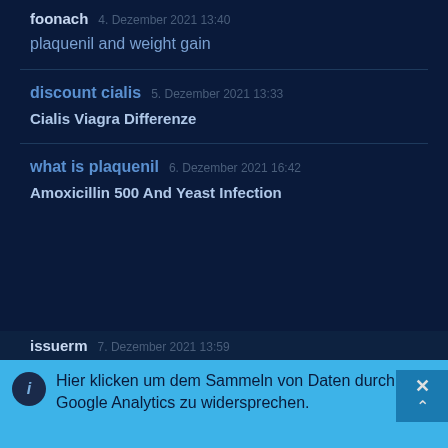foonach   4. Dezember 2021 13:40
plaquenil and weight gain
discount cialis   5. Dezember 2021 13:33
Cialis Viagra Differenze
what is plaquenil   6. Dezember 2021 16:42
Amoxicillin 500 And Yeast Infection
issuerm   7. Dezember 2021 13:59
Hier klicken um dem Sammeln von Daten durch Google Analytics zu widersprechen.